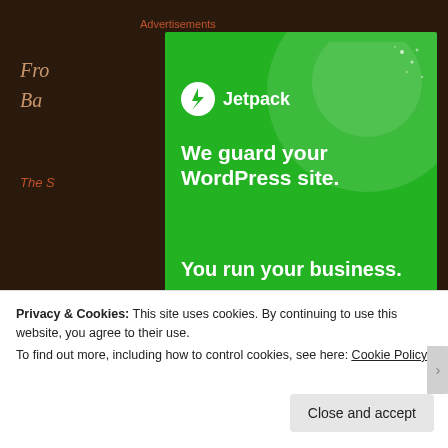Advertisements
From
Bac
The S
Subs
Ema
Enter
subs
notifications of new posts by
[Figure (screenshot): Jetpack advertisement overlay on a dark website. Green background with white Jetpack logo and lightning bolt icon. Text reads: 'We guard your WordPress site. You run your business.' with a 'Secure Your Site' button. Small 'REPORT THIS AD' text in bottom right.]
Privacy & Cookies: This site uses cookies. By continuing to use this website, you agree to their use.
To find out more, including how to control cookies, see here: Cookie Policy
Close and accept